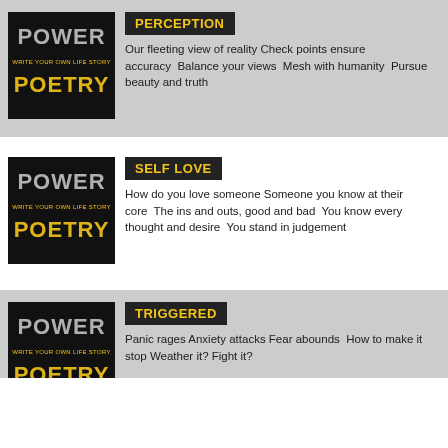[Figure (illustration): Power Poetry logo on black background — POWER POETRY, Write Your Own Life Story]
PERCEPTION
Our fleeting view of reality Check points ensure accuracy  Balance your views  Mesh with humanity  Pursue beauty and truth
[Figure (illustration): Power Poetry logo on black background — POWER POETRY, Write Your Own Life Story]
SELF LOVE
How do you love someone Someone you know at their core  The ins and outs, good and bad  You know every thought and desire  You stand in judgement
[Figure (illustration): Power Poetry logo on black background — POWER POETRY, Write Your Own Life Story]
TRIGGERED
Panic rages Anxiety attacks Fear abounds  How to make it stop Weather it? Fight it?